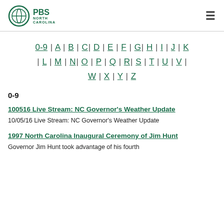PBS North Carolina
0-9 | A | B | C | D | E | F | G | H | I | J | K | L | M | N | O | P | Q | R | S | T | U | V | W | X | Y | Z
0-9
100516 Live Stream: NC Governor's Weather Update
10/05/16 Live Stream: NC Governor's Weather Update
1997 North Carolina Inaugural Ceremony of Jim Hunt
Governor Jim Hunt took advantage of his fourth